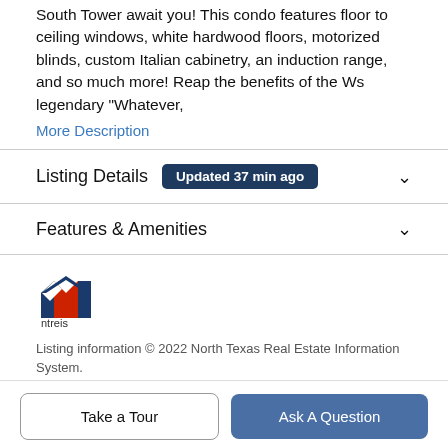South Tower await you! This condo features floor to ceiling windows, white hardwood floors, motorized blinds, custom Italian cabinetry, an induction range, and so much more! Reap the benefits of the Ws legendary "Whatever,"
More Description
Listing Details  Updated 37 min ago
Features & Amenities
[Figure (logo): NTREIS logo - stylized house shape in red, white, and blue with 'ntreis' text below]
Listing information © 2022 North Texas Real Estate Information System.
Take a Tour
Ask A Question